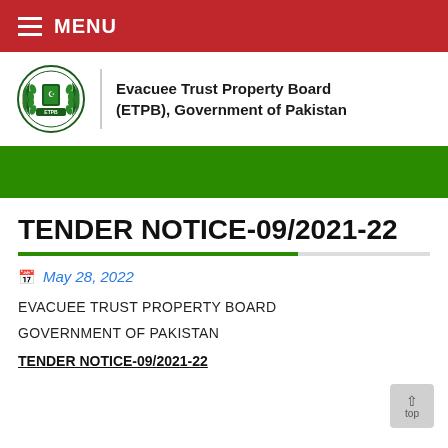≡ MENU
[Figure (logo): Evacuee Trust Property Board (ETPB) Government of Pakistan emblem/crest logo in dark green]
Evacuee Trust Property Board (ETPB), Government of Pakistan
TENDER NOTICE-09/2021-22
May 28, 2022
EVACUEE TRUST PROPERTY BOARD
GOVERNMENT OF PAKISTAN
TENDER NOTICE-09/2021-22